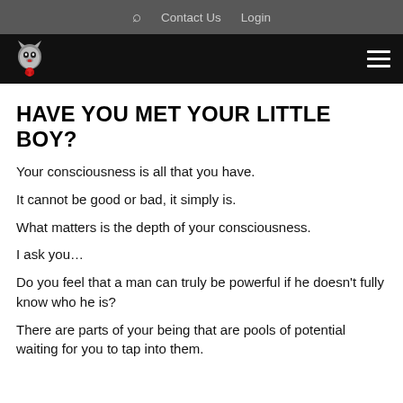🔍  Contact Us  Login
[Figure (logo): Wolf logo with red rose on black navigation bar]
HAVE YOU MET YOUR LITTLE BOY?
Your consciousness is all that you have.
It cannot be good or bad, it simply is.
What matters is the depth of your consciousness.
I ask you…
Do you feel that a man can truly be powerful if he doesn't fully know who he is?
There are parts of your being that are pools of potential waiting for you to tap into them.